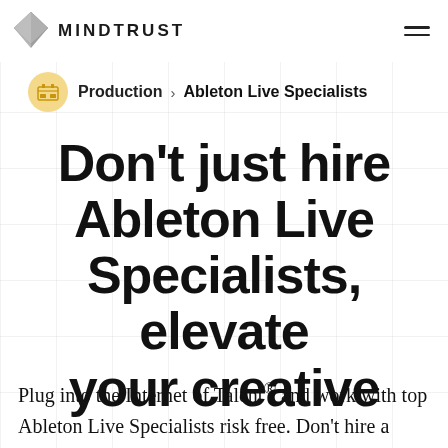MINDTRUST
Production > Ableton Live Specialists
Don't just hire Ableton Live Specialists, elevate your creative
Plug into the Internet of Talent® and work with top Ableton Live Specialists risk free. Don't hire a freelance Ableton Live Specialist, get the